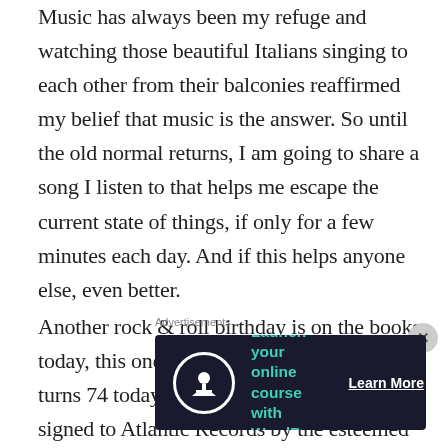Music has always been my refuge and watching those beautiful Italians singing to each other from their balconies reaffirmed my belief that music is the answer. So until the old normal returns, I am going to share a song I listen to that helps me escape the current state of things, if only for a few minutes each day. And if this helps anyone else, even better.
Another rock & roll birthday is on the books today, this one belonging to Daryl Hall who turns 74 today. He & John Oates were signed to Atlantic Records by the esteemed founder of the label, Ahmet Ertegun, in 1972. Th...
Advertisements
[Figure (infographic): Dark navy advertisement banner: circular icon with person/tree silhouette on left, teal text 'Launch your online course with WordPress', white 'Learn More' button on right]